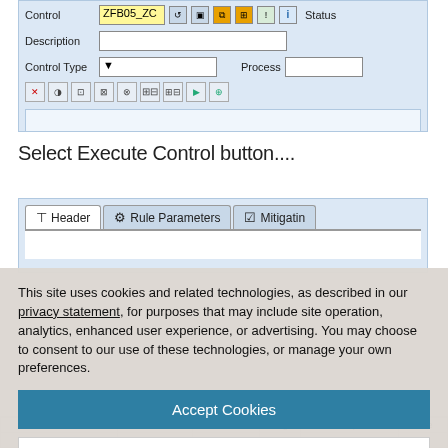[Figure (screenshot): SAP-style form UI showing Control field with value ZFB05_ZC, toolbar icons, Description and Control Type fields with Process label, and icon toolbar row]
Select Execute Control button....
[Figure (screenshot): SAP-style tabbed interface showing Header, Rule Parameters, and Mitigatin... tabs]
This site uses cookies and related technologies, as described in our privacy statement, for purposes that may include site operation, analytics, enhanced user experience, or advertising. You may choose to consent to our use of these technologies, or manage your own preferences.
Accept Cookies
More Information
Privacy Policy | Powered by: TrustArc
| Case Number | Process | Control | Org | Description | Date |
| --- | --- | --- | --- | --- | --- |